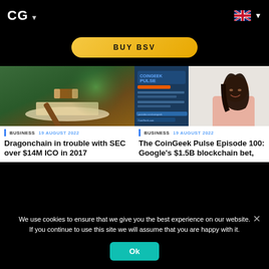CG ▾
[Figure (other): CoinGeek website screenshot showing BUY BSV button and two article cards]
BUY BSV
[Figure (photo): A judge's gavel resting on an open book with green background]
BUSINESS   19 AUGUST 2022
Dragonchain in trouble with SEC over $14M ICO in 2017
[Figure (screenshot): CoinGeek Pulse Episode 100 thumbnail with logo and presenter]
BUSINESS   19 AUGUST 2022
The CoinGeek Pulse Episode 100: Google's $1.5B blockchain bet,
We use cookies to ensure that we give you the best experience on our website. If you continue to use this site we will assume that you are happy with it.
Ok